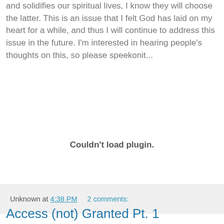and solidifies our spiritual lives, I know they will choose the latter. This is an issue that I felt God has laid on my heart for a while, and thus I will continue to address this issue in the future. I'm interested in hearing people's thoughts on this, so please speekonit...
[Figure (other): Plugin placeholder area showing 'Couldn't load plugin.' message]
Unknown at 4:38 PM   2 comments:
Access (not) Granted Pt. 1